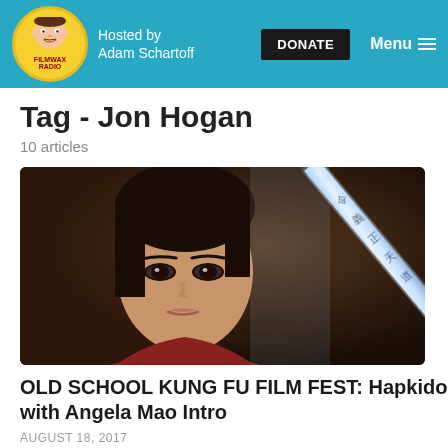FILMWAX RADIO – Hosted by Adam Schartoff – DONATE – Menu
Tag - Jon Hogan
10 articles
[Figure (photo): A woman holding a glowing sword/blade with Chinese characters inscribed on it, looking intensely at the camera. Dark cinematic background.]
OLD SCHOOL KUNG FU FILM FEST: Hapkido with Angela Mao Intro
AUGUST 18, 2017